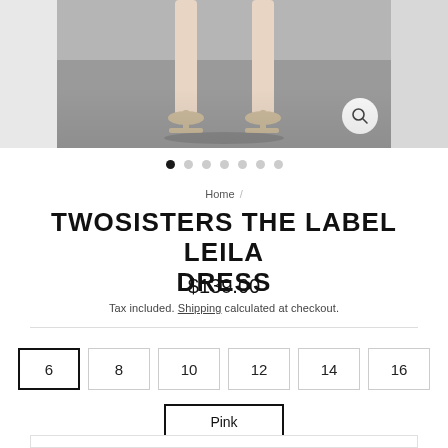[Figure (photo): Product photo strip showing lower portion of a woman wearing a dress and strappy heels on a grey floor, with a magnifying glass icon in bottom right. Three panel layout with center image and partial side images.]
Home /
TWOSISTERS THE LABEL LEILA DRESS
$139.00
Tax included. Shipping calculated at checkout.
6  8  10  12  14  16
Pink